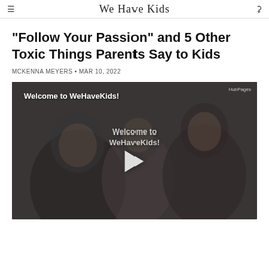We Have Kids
"Follow Your Passion" and 5 Other Toxic Things Parents Say to Kids
MCKENNA MEYERS • MAR 10, 2022
[Figure (screenshot): Video thumbnail showing a family group smiling together with overlay text 'Welcome to WeHaveKids!' and a play button. HubPages watermark in top right corner.]